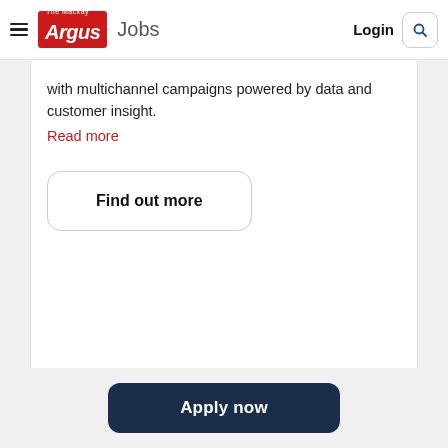The Mackay Argus Jobs | Login | Search
with multichannel campaigns powered by data and customer insight.
Read more
Find out more
Apply now